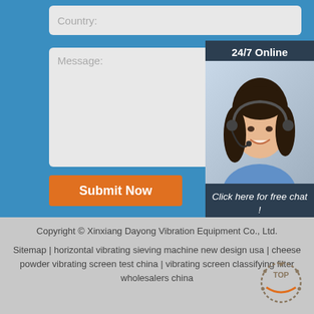Country:
Message:
Submit Now
[Figure (illustration): 24/7 online chat widget with photo of a smiling woman wearing a headset, dark navy background, with 'Click here for free chat!' text and an orange QUOTATION button]
Copyright © Xinxiang Dayong Vibration Equipment Co., Ltd.
Sitemap | horizontal vibrating sieving machine new design usa | cheese powder vibrating screen test china | vibrating screen classifying filter wholesalers china